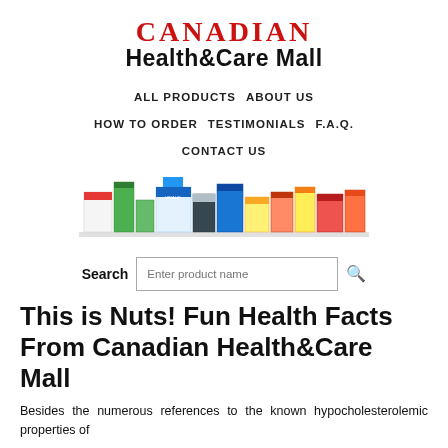CANADIAN Health&Care Mall
ALL PRODUCTS   ABOUT US   HOW TO ORDER   TESTIMONIALS   F.A.Q.   CONTACT US
[Figure (photo): Row of colorful pharmaceutical product boxes and packages displayed against a white background]
Search  [Enter product name]
This is Nuts! Fun Health Facts From Canadian Health&Care Mall
Besides the numerous references to the known hypocholesterolemic properties of